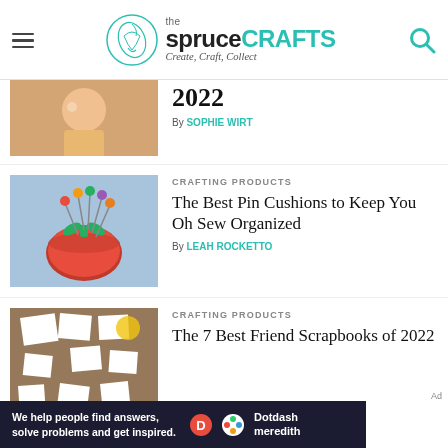the spruce CRAFTS — Create, Craft, Collect
2022
By SOPHIE WIRT
CRAFTING PRODUCTS
The Best Pin Cushions to Keep You Oh Sew Organized
By LEAH ROCKETTO
CRAFTING PRODUCTS
The 7 Best Friend Scrapbooks of 2022
Ad
We help people find answers, solve problems and get inspired. Dotdash meredith